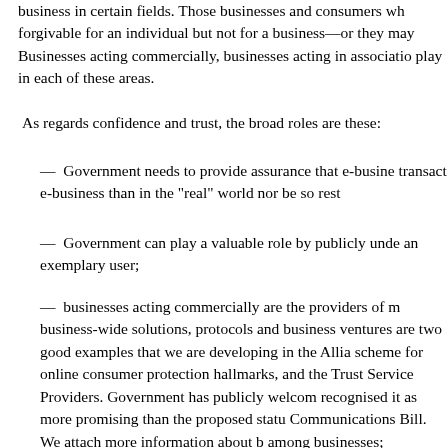business in certain fields. Those businesses and consumers wh forgivable for an individual but not for a business—or they may Businesses acting commercially, businesses acting in associatio play in each of these areas.
As regards confidence and trust, the broad roles are these:
— Government needs to provide assurance that e-busine transact e-business than in the "real" world nor be so rest
— Government can play a valuable role by publicly unde an exemplary user;
— businesses acting commercially are the providers of m business-wide solutions, protocols and business ventures are two good examples that we are developing in the Allia scheme for online consumer protection hallmarks, and the Trust Service Providers. Government has publicly welcom recognised it as more promising than the proposed statu Communications Bill. We attach more information about b among businesses;
— a next step is to extend TrustUK by developing with o borders. Such self-regulatory protection for consumers wi Discussion of the EU Directive on legal frameworks has s consumers, but the current form of the Directive, by provi contracts, fails to help. It is important that self-regulatory p Alternative Dispute Resolution procedures (ADRs) availabl